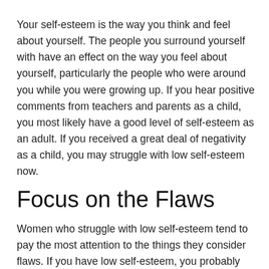Your self-esteem is the way you think and feel about yourself. The people you surround yourself with have an effect on the way you feel about yourself, particularly the people who were around you while you were growing up. If you hear positive comments from teachers and parents as a child, you most likely have a good level of self-esteem as an adult. If you received a great deal of negativity as a child, you may struggle with low self-esteem now.
Focus on the Flaws
Women who struggle with low self-esteem tend to pay the most attention to the things they consider flaws. If you have low self-esteem, you probably find that you focus on your weight, appearance or ability to perform in